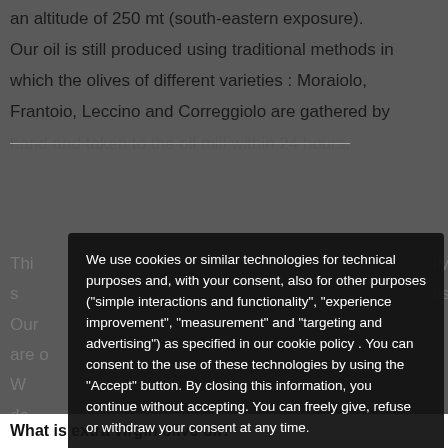an altitude of 250 mt (south-eastern exposure). Our oil is still produced using traditional methods in which the olives of different varieties : Moraiolo, Frantoio, Leccino and Correggiolo are gathered by hand and taken to the oil mill within 24 hours.
We use cookies or similar technologies for technical purposes and, with your consent, also for other purposes ("simple interactions and functionality", "experience improvement", "measurement" and "targeting and advertising") as specified in our cookie policy . You can consent to the use of these technologies by using the "Accept" button. By closing this information, you continue without accepting. You can freely give, refuse or withdraw your consent at any time.
Accept | Settings | Deny
250 ml and 750 ... Cans : 1 liter and 5 l...
What is extra virgin olive oil?